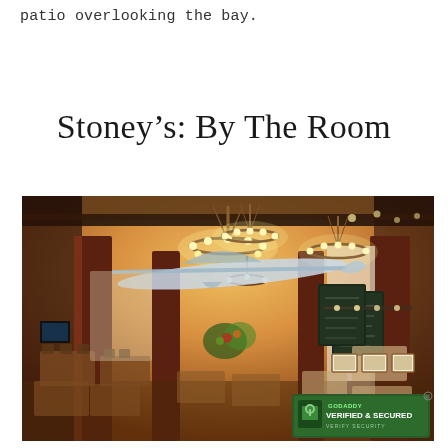patio overlooking the bay.
Stoney’s: By The Room
[Figure (photo): Interior of Stoney's restaurant showing dining room with wooden columns, decorative chandeliers, mounted marlin/swordfish suspended from ceiling, chalkboard menus, and dining tables with chairs arranged throughout the space.]